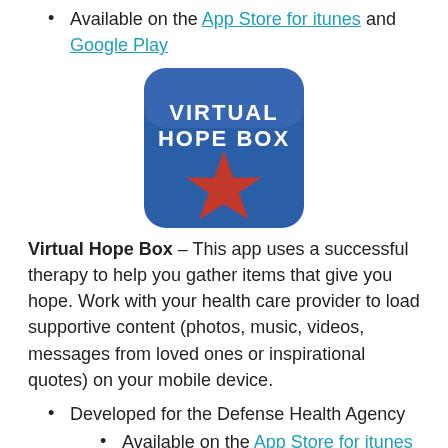Available on the App Store for itunes and Google Play
[Figure (logo): Virtual Hope Box app logo — blue rounded square with 'VIRTUAL HOPE BOX' text and a red star in the center]
Virtual Hope Box – This app uses a successful therapy to help you gather items that give you hope. Work with your health care provider to load supportive content (photos, music, videos, messages from loved ones or inspirational quotes) on your mobile device.
Developed for the Defense Health Agency
Available on the App Store for itunes and Google Play
[Figure (logo): Partial view of another app logo at the bottom of the page]